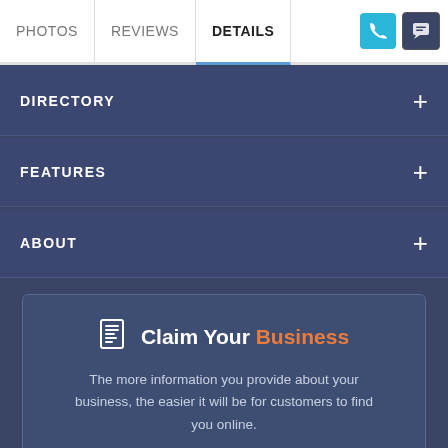PHOTOS  REVIEWS  DETAILS
DIRECTORY
FEATURES
ABOUT
Claim Your Business
The more information you provide about your business, the easier it will be for customers to find you online.
Claim Your Listing